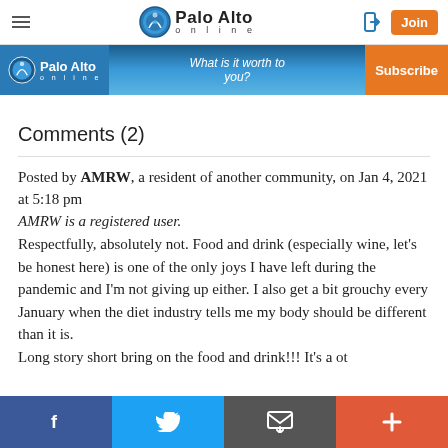Palo Alto online
[Figure (screenshot): Palo Alto Online advertisement banner with subscribe button]
Comments (2)
Posted by AMRW, a resident of another community, on Jan 4, 2021 at 5:18 pm
AMRW is a registered user.
Respectfully, absolutely not. Food and drink (especially wine, let's be honest here) is one of the only joys I have left during the pandemic and I'm not giving up either. I also get a bit grouchy every January when the diet industry tells me my body should be different than it is. Long story short bring on the food and drink!!!
Facebook | Twitter | Email | More